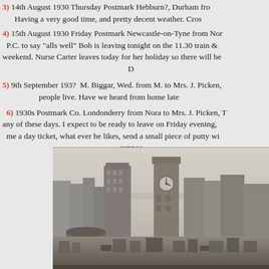3) 14th August 1930 Thursday Postmark Hebburn?, Durham fro... Having a very good time, and pretty decent weather. Cros...
4) 15th August 1930 Friday Postmark Newcastle-on-Tyne from Nor... P.C. to say "alls well" Bob is leaving tonight on the 11.30 train &... weekend. Nurse Carter leaves today for her holiday so there will be... D
5) 9th September 193?  M. Biggar, Wed. from M. to Mrs. J. Picken,... people live. Have we heard from home late...
6) 1930s Postmark Co. Londonderry from Nora to Mrs. J. Picken, T... any of these days. I expect to be ready to leave on Friday evening,... me a day ticket, what ever he likes, send a small piece of putty wi... suppos...
[Figure (photo): Black and white historical photograph of a town street scene showing Victorian-era buildings including a prominent clock tower, various commercial buildings, and market structures in the foreground.]